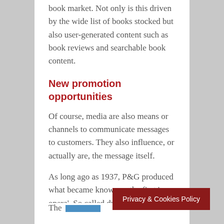book market. Not only is this driven by the wide list of books stocked but also user-generated content such as book reviews and searchable book content.
New promotion opportunities
Of course, media are also means or channels to communicate messages to customers. They also influence, or actually are, the message itself.
As long ago as 1937, P&G produced what became known as the first 'soap opera'. So called due to the soap powder advertisement that followed the show. Called 'Guiding Light' – the first soap opera was a US daytime radio series. It transferred to tv in 1952 and aired until 2009.
The
[Figure (other): Privacy & Cookies Policy banner overlay in dark red]